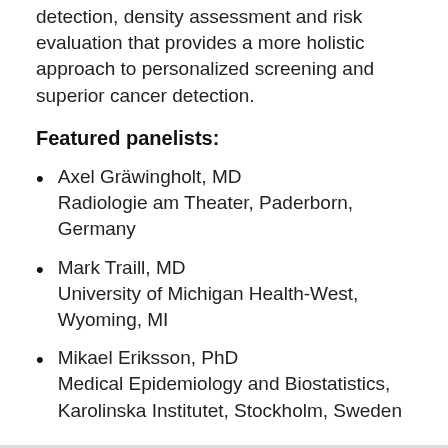detection, density assessment and risk evaluation that provides a more holistic approach to personalized screening and superior cancer detection.
Featured panelists:
Axel Gräwingholt, MD
Radiologie am Theater, Paderborn, Germany
Mark Traill, MD
University of Michigan Health-West, Wyoming, MI
Mikael Eriksson, PhD
Medical Epidemiology and Biostatistics, Karolinska Institutet, Stockholm, Sweden